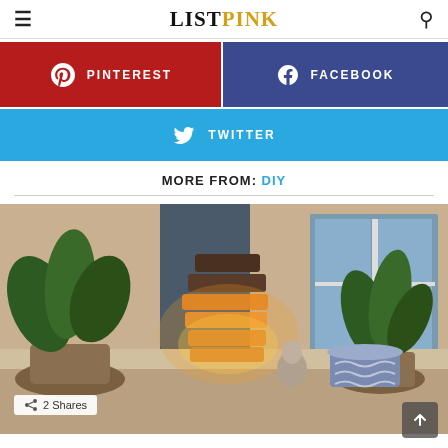LISTPINK
[Figure (infographic): Pinterest share button (red background) with Pinterest logo and text PINTEREST]
[Figure (infographic): Facebook share button (dark blue background) with Facebook logo and text FACEBOOK]
[Figure (infographic): Twitter share button (light blue background) with Twitter bird logo and text TWITTER]
MORE FROM: DIY
[Figure (photo): Photo of a DIY wooden log lamp glowing warmly on a windowsill, surrounded by potted plants in an outdoor/porch setting at dusk]
2 Shares